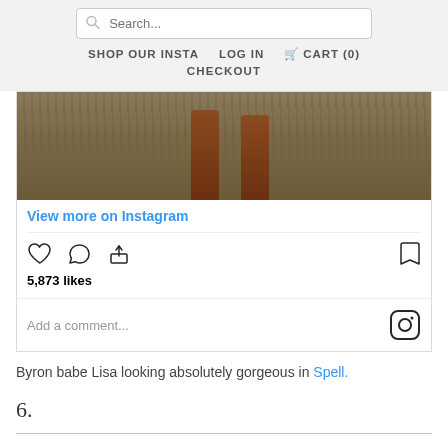Search... | SHOP OUR INSTA | LOG IN | CART (0) | CHECKOUT
[Figure (photo): Instagram post showing cowboy boots standing on dried grass/ground, partial view]
View more on Instagram
5,873 likes
Add a comment...
Byron babe Lisa looking absolutely gorgeous in Spell.
6.